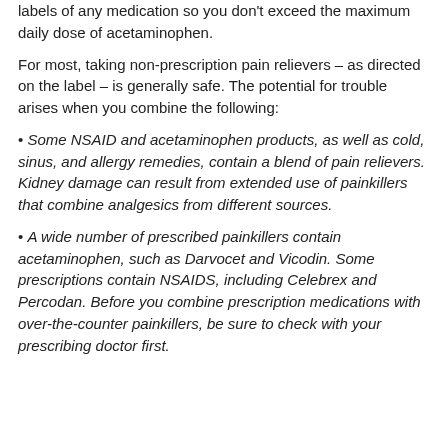labels of any medication so you don't exceed the maximum daily dose of acetaminophen.
For most, taking non-prescription pain relievers – as directed on the label – is generally safe. The potential for trouble arises when you combine the following:
Some NSAID and acetaminophen products, as well as cold, sinus, and allergy remedies, contain a blend of pain relievers. Kidney damage can result from extended use of painkillers that combine analgesics from different sources.
A wide number of prescribed painkillers contain acetaminophen, such as Darvocet and Vicodin. Some prescriptions contain NSAIDS, including Celebrex and Percodan. Before you combine prescription medications with over-the-counter painkillers, be sure to check with your prescribing doctor first.